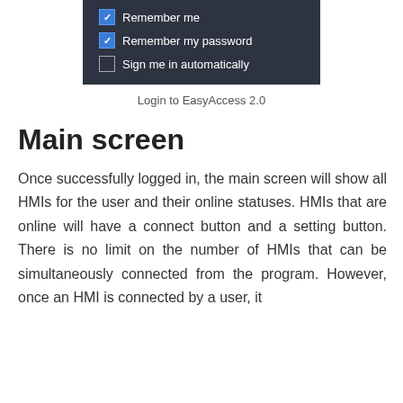[Figure (screenshot): Screenshot of a dark-themed login UI showing three checkbox options: 'Remember me' (checked), 'Remember my password' (checked), 'Sign me in automatically' (unchecked).]
Login to EasyAccess 2.0
Main screen
Once successfully logged in, the main screen will show all HMIs for the user and their online statuses. HMIs that are online will have a connect button and a setting button. There is no limit on the number of HMIs that can be simultaneously connected from the program. However, once an HMI is connected by a user, it